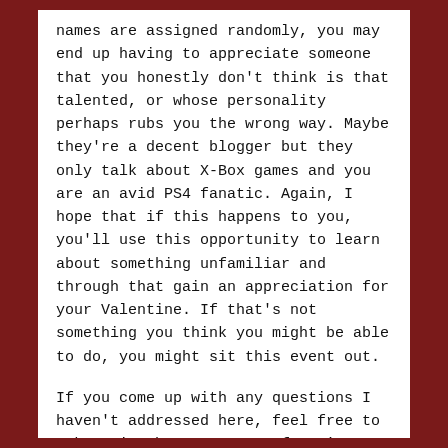names are assigned randomly, you may end up having to appreciate someone that you honestly don't think is that talented, or whose personality perhaps rubs you the wrong way. Maybe they're a decent blogger but they only talk about X-Box games and you are an avid PS4 fanatic. Again, I hope that if this happens to you, you'll use this opportunity to learn about something unfamiliar and through that gain an appreciation for your Valentine. If that's not something you think you might be able to do, you might sit this event out.
If you come up with any questions I haven't addressed here, feel free to ask me in the comments. If you're super